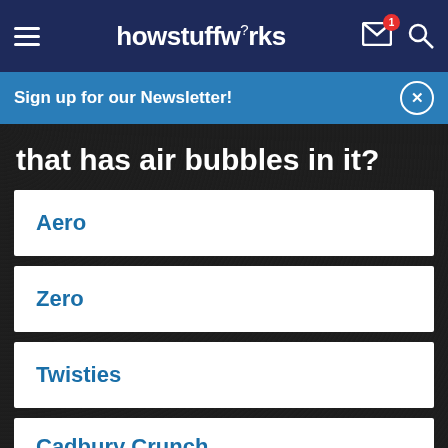howstuffworks
Sign up for our Newsletter!
that has air bubbles in it?
Aero
Zero
Twisties
Cadbury Crunch